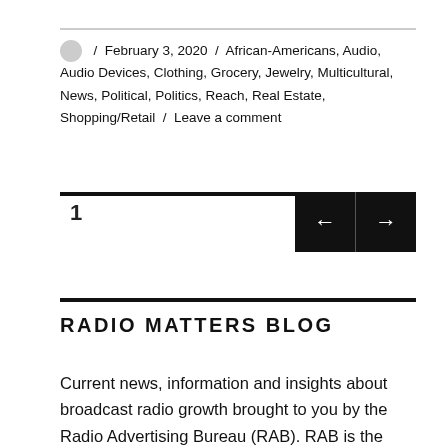/ February 3, 2020 / African-Americans, Audio, Audio Devices, Clothing, Grocery, Jewelry, Multicultural, News, Political, Politics, Reach, Real Estate, Shopping/Retail / Leave a comment
1
RADIO MATTERS BLOG
Current news, information and insights about broadcast radio growth brought to you by the Radio Advertising Bureau (RAB). RAB is the